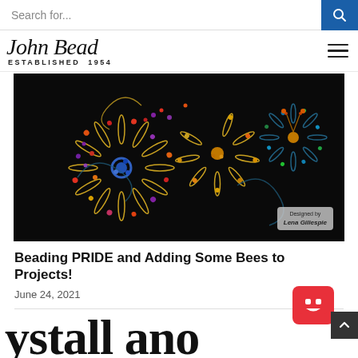Search for...
[Figure (logo): John Bead logo in script font with 'ESTABLISHED 1954' below]
[Figure (photo): Colorful beaded wire flower sculptures on a black background. Text overlay reads 'Designed by Lena Gillespie']
Beading PRIDE and Adding Some Bees to Projects!
June 24, 2021
ystall ano